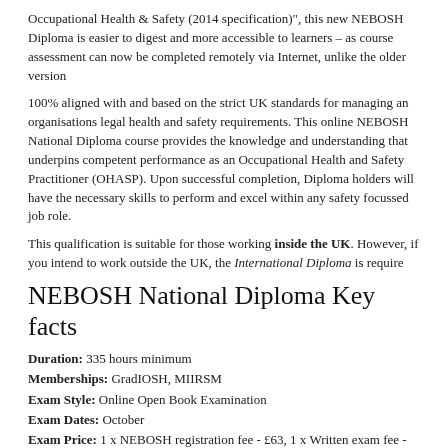Occupational Health & Safety (2014 specification)", this new NEBOSH Diploma is easier to digest and more accessible to learners – as course assessment can now be completed remotely via Internet, unlike the older version
100% aligned with and based on the strict UK standards for managing an organisations legal health and safety requirements. This online NEBOSH National Diploma course provides the knowledge and understanding that underpins competent performance as an Occupational Health and Safety Practitioner (OHASP). Upon successful completion, Diploma holders will have the necessary skills to perform and excel within any safety focussed job role.
This qualification is suitable for those working inside the UK. However, if you intend to work outside the UK, the International Diploma is require
NEBOSH National Diploma Key facts
Duration: 335 hours minimum
Memberships: GradIOSH, MIIRSM
Exam Style: Online Open Book Examination
Exam Dates: October
Exam Price: 1 x NEBOSH registration fee - £63, 1 x Written exam fee - £137, 2 x Assignment fee - £137
Course Start Dates: Anytime
This NEBOSH Diploma is Studied and Assessed Online
Our NEBOSH Diploma courses are studied and examined 100% online. Examinations are assessment Are that the NEBOSH National Diploma course related to